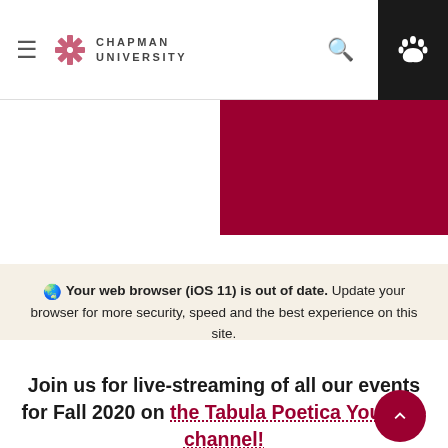Chapman University
[Figure (screenshot): Red/maroon banner image blocks behind content]
Your web browser (iOS 11) is out of date. Update your browser for more security, speed and the best experience on this site.
Update browser | Ignore
Tabula Poetica (partial, behind overlay)
Join us for live-streaming of all our events for Fall 2020 on the Tabula Poetica YouTube channel!
Tabula Poetica: The Center for Poetry at Chapman